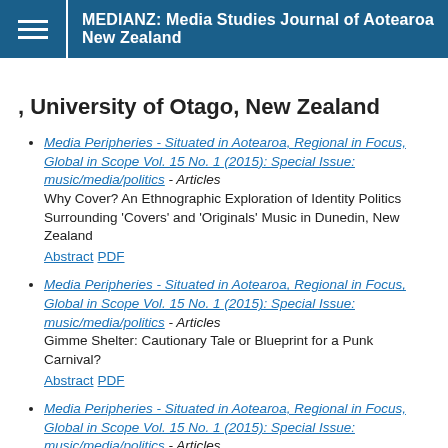MEDIANZ: Media Studies Journal of Aotearoa New Zealand
, University of Otago, New Zealand
Media Peripheries - Situated in Aotearoa, Regional in Focus, Global in Scope Vol. 15 No. 1 (2015): Special Issue: music/media/politics - Articles
Why Cover? An Ethnographic Exploration of Identity Politics Surrounding 'Covers' and 'Originals' Music in Dunedin, New Zealand
Abstract  PDF
Media Peripheries - Situated in Aotearoa, Regional in Focus, Global in Scope Vol. 15 No. 1 (2015): Special Issue: music/media/politics - Articles
Gimme Shelter: Cautionary Tale or Blueprint for a Punk Carnival?
Abstract  PDF
Media Peripheries - Situated in Aotearoa, Regional in Focus, Global in Scope Vol. 15 No. 1 (2015): Special Issue: music/media/politics - Articles